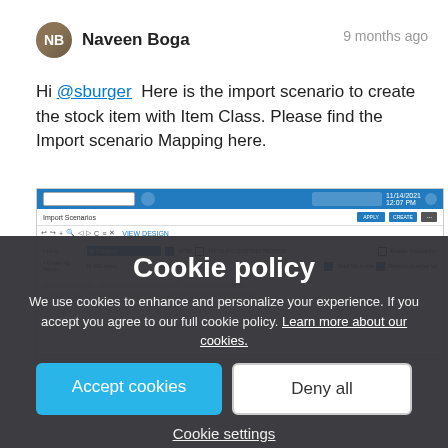Naveen Boga
9 months ago
Hi @sburger  Here is the import scenario to create the stock item with Item Class. Please find the Import scenario Mapping here.
[Figure (screenshot): Screenshot of an import scenarios interface in a web application, showing a toolbar with search box, and rows with blue dropdown selections and checkboxes.]
Cookie policy
We use cookies to enhance and personalize your experience. If you accept you agree to our full cookie policy. Learn more about our cookies.
Accept cookies
Deny all
Cookie settings